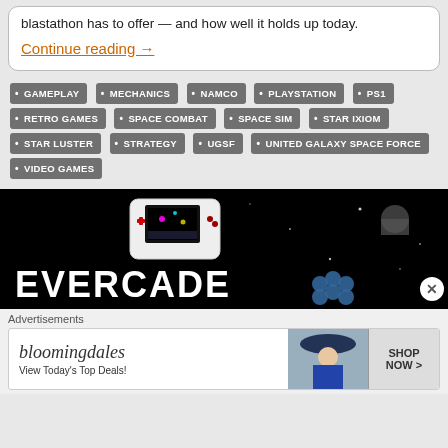blastathon has to offer — and how well it holds up today.
Continue reading →
GAMEPLAY
MECHANICS
NAMCO
PLAYSTATION
PS1
RETRO GAMES
SPACE COMBAT
SPACE SIM
STAR IXIOM
STAR LUSTER
STRATEGY
UGSF
UNITED GALAXY SPACE FORCE
VIDEO GAMES
[Figure (advertisement): Evercade handheld gaming device advertisement with black background, showing a handheld console with colorful game screen and the text EVERCADE in large white letters]
[Figure (advertisement): Bloomingdales advertisement showing logo, 'View Today's Top Deals!' text, woman in hat, and SHOP NOW > button]